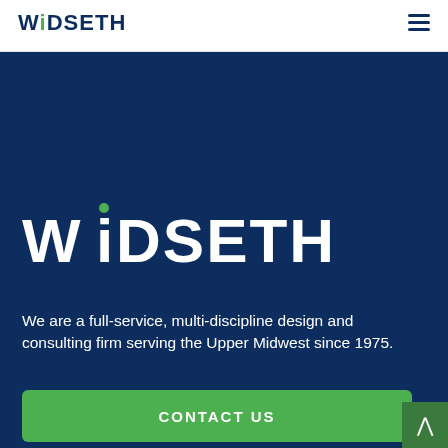WIDSETH
[Figure (logo): Widseth company logo with green dot above the letter i, white text on dark navy background]
We are a full-service, multi-discipline design and consulting firm serving the Upper Midwest since 1975.
CONTACT US